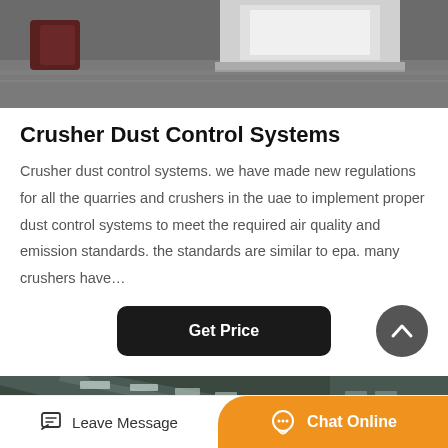[Figure (photo): Industrial machinery in a warehouse or factory — partial top view showing large white/grey equipment on a concrete floor.]
Crusher Dust Control Systems
Crusher dust control systems. we have made new regulations for all the quarries and crushers in the uae to implement proper dust control systems to meet the required air quality and emission standards. the standards are similar to epa. many crushers have…
[Figure (photo): Interior of a large industrial building showing a long corridor with a corrugated metal roof with skylights and green/grey industrial walls with windows.]
Leave Message  Chat Online